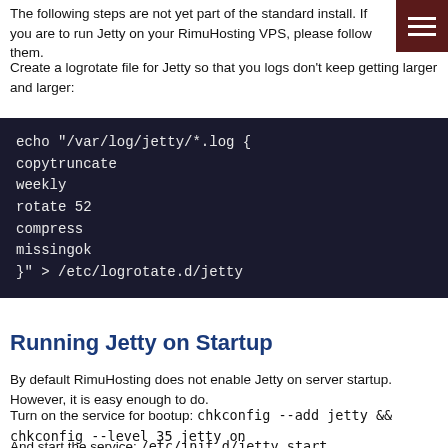The following steps are not yet part of the standard install. If you are to run Jetty on your RimuHosting VPS, please follow them.
Create a logrotate file for Jetty so that you logs don't keep getting larger and larger:
echo "/var/log/jetty/*.log {
copytruncate
weekly
rotate 52
compress
missingok
}" > /etc/logrotate.d/jetty
Running Jetty on Startup
By default RimuHosting does not enable Jetty on server startup. However, it is easy enough to do.
Turn on the service for bootup: chkconfig --add jetty && chkconfig --level 35 jetty on
And start the service: /etc/init.d/jetty start
You will probably want to disable Apache: chkconfig --del httpd